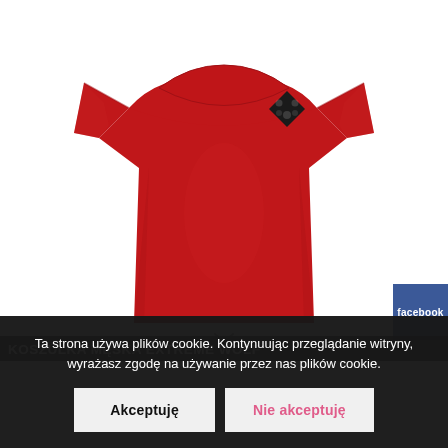[Figure (photo): Red men's t-shirt with small black logo on chest, displayed on white background]
KOSZULKA MĘSKA EXTREME WOLF
Ta strona używa plików cookie. Kontynuując przeglądanie witryny, wyrażasz zgodę na używanie przez nas plików cookie.
Akceptuję
Nie akceptuję